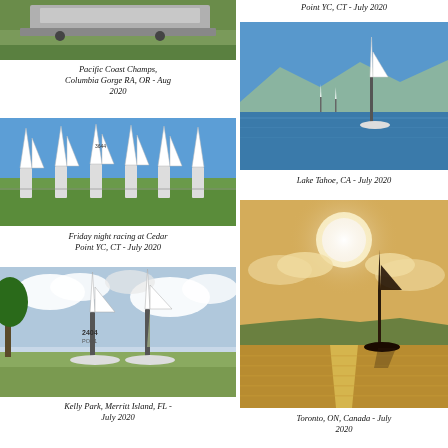[Figure (photo): Sailboats on grass/ramp area - top of page, left column (partially visible, cropped at top)]
Pacific Coast Champs, Columbia Gorge RA, OR - Aug 2020
Point YC, CT - July 2020
[Figure (photo): Multiple sailboats with white sails lined up on a parking lot/grass area - Friday night racing at Cedar Point YC]
Friday night racing at Cedar Point YC, CT - July 2020
[Figure (photo): Single sailboat on blue water with mountains in background - Lake Tahoe]
Lake Tahoe, CA - July 2020
[Figure (photo): Sailboats on land/dock area, cloudy sky - Kelly Park, Merritt Island FL]
Kelly Park, Merritt Island, FL - July 2020
[Figure (photo): Single sailboat on golden/sunset water with sun visible - Toronto, ON, Canada]
Toronto, ON, Canada - July 2020